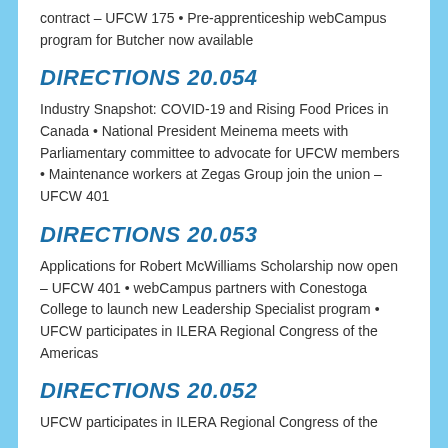contract – UFCW 175 • Pre-apprenticeship webCampus program for Butcher now available
DIRECTIONS 20.054
Industry Snapshot: COVID-19 and Rising Food Prices in Canada • National President Meinema meets with Parliamentary committee to advocate for UFCW members • Maintenance workers at Zegas Group join the union – UFCW 401
DIRECTIONS 20.053
Applications for Robert McWilliams Scholarship now open – UFCW 401 • webCampus partners with Conestoga College to launch new Leadership Specialist program • UFCW participates in ILERA Regional Congress of the Americas
DIRECTIONS 20.052
UFCW participates in ILERA Regional Congress of the